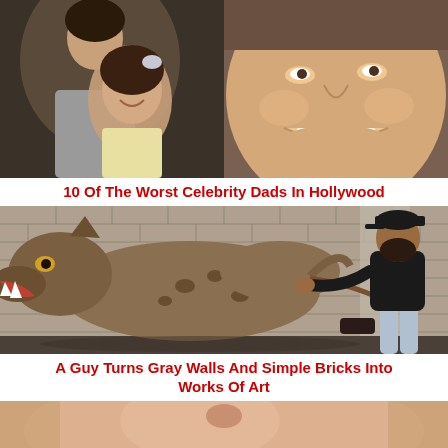[Figure (photo): Two photos side by side: left shows a woman and young girl smiling, right shows a close-up of a smiling man's face]
10 Of The Worst Celebrity Dads In Hollywood
[Figure (photo): Street art mural of a hyena on a brick wall, with a bearded man in black hoodie and cap appearing to pull it on a leash]
A Guy Turns Gray Walls And Simple Bricks Into Works Of Art
[Figure (photo): Close-up of a woman's face with blonde hair, partially visible at bottom of page]